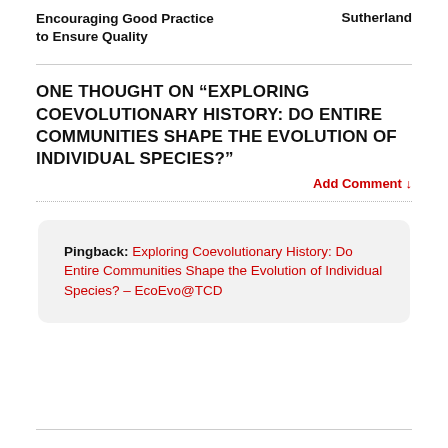Encouraging Good Practice to Ensure Quality | Sutherland
ONE THOUGHT ON “EXPLORING COEVOLUTIONARY HISTORY: DO ENTIRE COMMUNITIES SHAPE THE EVOLUTION OF INDIVIDUAL SPECIES?”
Add Comment ↓
Pingback: Exploring Coevolutionary History: Do Entire Communities Shape the Evolution of Individual Species? – EcoEvo@TCD